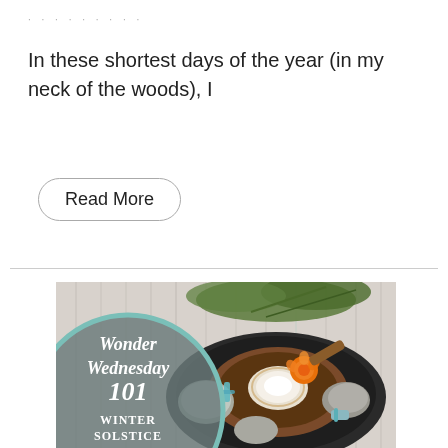· · · · · · · · ·
In these shortest days of the year (in my neck of the woods), I
Read More
[Figure (photo): Wonder Wednesday 101 - Winter Solstice Stone Wraps: A photo of a bowl surrounded by stones, flowers (orange marigolds), crystals tied with teal ribbon, and a candle, with rosemary sprigs in the background. A teal-bordered grey circle overlay in the lower left shows the text 'Wonder Wednesday 101 Winter Solstice Stone Wraps' in white italic/serif font.]